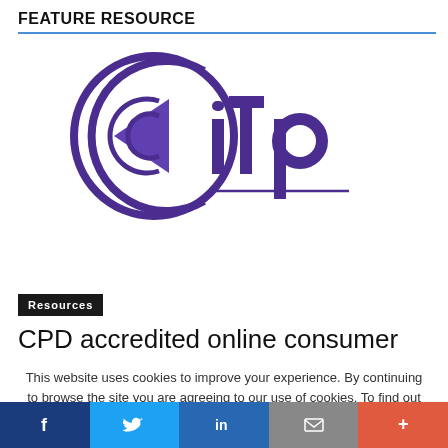FEATURE RESOURCE
[Figure (logo): CITP logo — purple circular arrow design with the letters 'citp' in bold purple text, underlined]
Resources
CPD accredited online consumer
This website uses cookies to improve your experience. By continuing to browse the site you are agreeing to our use of cookies. To find out more please read our privacy policy
Accept - To find out more: Read our updated privacy
f  t  in  mail  +